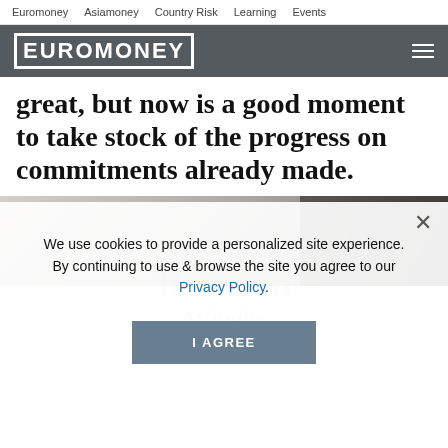Euromoney   Asiamoney   Country Risk   Learning   Events
[Figure (logo): Euromoney logo in white text on dark grey background with hamburger menu icon]
great, but now is a good moment to take stock of the progress on commitments already made.
[Figure (photo): Two photo panels: left shows a woman with long hair in a blurred indoor setting; right shows a darker cropped photo. Watermark text reads 'Research' and 'on ESG'.]
We use cookies to provide a personalized site experience.
By continuing to use & browse the site you agree to our Privacy Policy.
I AGREE